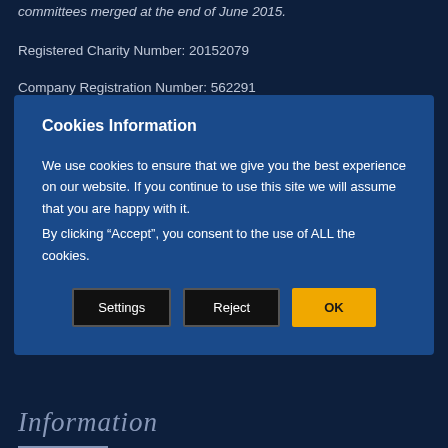committees merged at the end of June 2015.
Registered Charity Number: 20152079
Company Registration Number: 562291
Cookies Information
We use cookies to ensure that we give you the best experience on our website. If you continue to use this site we will assume that you are happy with it.
By clicking “Accept”, you consent to the use of ALL the cookies.
Information